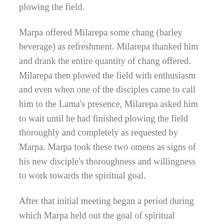plowing the field.
Marpa offered Milarepa some chang (barley beverage) as refreshment. Milarepa thanked him and drank the entire quantity of chang offered. Milarepa then plowed the field with enthusiasm and even when one of the disciples came to call him to the Lama's presence, Milarepa asked him to wait until he had finished plowing the field thoroughly and completely as requested by Marpa. Marpa took these two omens as signs of his new disciple's thoroughness and willingness to work towards the spiritual goal.
After that initial meeting began a period during which Marpa held out the goal of spiritual instruction and kept Milarepa busy at strenuous physical labors building various stone edifices. By nature Marpa was outwardly a rough and tyrannical teacher but inwardly he was all love and compassion. By the previous omens and